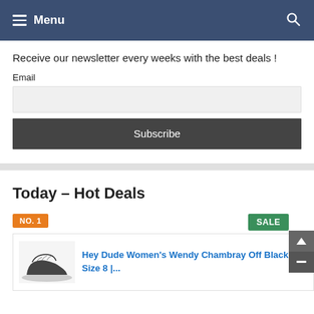Menu
Receive our newsletter every weeks with the best deals !
Email
Subscribe
Today – Hot Deals
NO. 1
SALE
Hey Dude Women's Wendy Chambray Off Black Size 8 |...